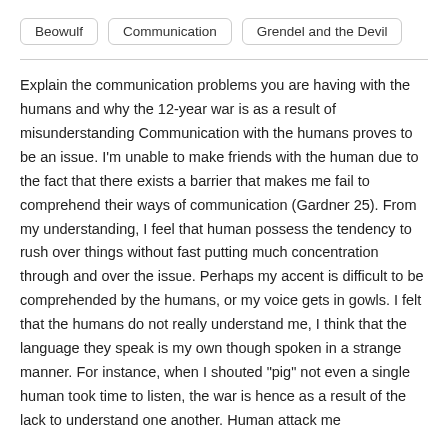Beowulf | Communication | Grendel and the Devil
Explain the communication problems you are having with the humans and why the 12-year war is as a result of misunderstanding Communication with the humans proves to be an issue. I'm unable to make friends with the human due to the fact that there exists a barrier that makes me fail to comprehend their ways of communication (Gardner 25). From my understanding, I feel that human possess the tendency to rush over things without fast putting much concentration through and over the issue. Perhaps my accent is difficult to be comprehended by the humans, or my voice gets in gowls. I felt that the humans do not really understand me, I think that the language they speak is my own though spoken in a strange manner. For instance, when I shouted "pig" not even a single human took time to listen, the war is hence as a result of the lack to understand one another. Human attack me